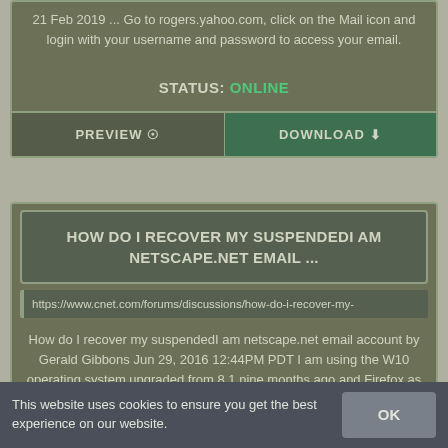21 Feb 2019 ... Go to rogers.yahoo.com, click on the Mail icon and login with your username and password to access your email.
STATUS: ONLINE
PREVIEW  DOWNLOAD
HOW DO I RECOVER MY SUSPENDEDI AM NETSCAPE.NET EMAIL ...
https://www.cnet.com/forums/discussions/how-do-i-recover-my-
How do I recover my suspendedI am netscape.net email account by Gerald Gibbons Jun 29, 2016 12:44PM PDT I am using the W10 operating system upgraded from 8.1 nine months ago and Firefox as a browser.
This website uses cookies to ensure you get the best experience on our website.